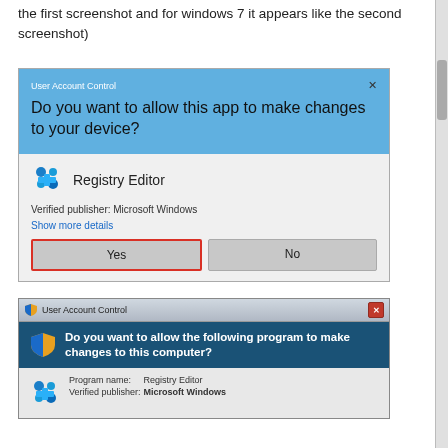the first screenshot and for windows 7 it appears like the second screenshot)
[Figure (screenshot): Windows 10 User Account Control dialog asking 'Do you want to allow this app to make changes to your device?' with Registry Editor app listed, Verified publisher: Microsoft Windows, Show more details link, and Yes button highlighted with red border, and No button.]
[Figure (screenshot): Windows 7 User Account Control dialog with dark blue header asking 'Do you want to allow the following program to make changes to this computer?' with Program name: Registry Editor and Verified publisher: Microsoft Windows shown in the body.]